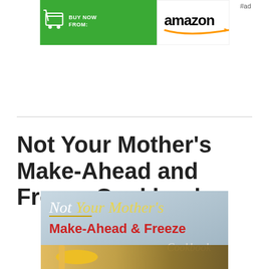[Figure (other): Amazon 'Buy Now From' advertisement banner with green shopping cart button and Amazon logo with smile]
#ad
Not Your Mother's Make-Ahead and Freeze Cookbook
[Figure (other): Book cover image for 'Not Your Mother's Make-Ahead & Freeze Cookbook' showing white, yellow, and red text on a light blue background with food imagery at the bottom]